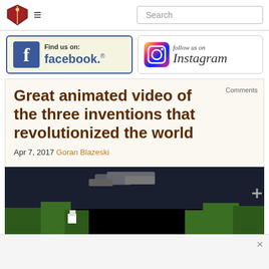Search
[Figure (logo): Find us on Facebook button with blue border and Facebook logo]
[Figure (logo): Follow us on Instagram button with Instagram camera icon]
Great animated video of the three inventions that revolutionized the world
Apr 7, 2017 Goran Blazeski
[Figure (screenshot): Pixelated animated video thumbnail with dark background, green and grey shapes]
Comments